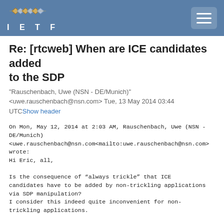IETF
Re: [rtcweb] When are ICE candidates added to the SDP
"Rauschenbach, Uwe (NSN - DE/Munich)" <uwe.rauschenbach@nsn.com> Tue, 13 May 2014 03:44 UTCShow header
On Mon, May 12, 2014 at 2:03 AM, Rauschenbach, Uwe (NSN - DE/Munich) <uwe.rauschenbach@nsn.com<mailto:uwe.rauschenbach@nsn.com> wrote:
Hi Eric, all,

Is the consequence of “always trickle” that ICE candidates have to be added by non-trickling applications via SDP manipulation?
I consider this indeed quite inconvenient for non-trickling applications.

So, my understanding was that we had agreed that no candidates would
be available in the first CreateOffer() no matter how